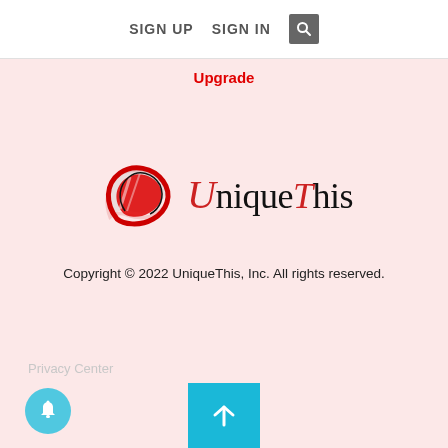SIGN UP   SIGN IN   [search icon]
Upgrade
[Figure (logo): UniqueThis logo with stylized red U graphic and serif text 'UniqueThis' with red U and T letters]
Copyright © 2022 UniqueThis, Inc. All rights reserved.
Privacy Center
[Figure (infographic): Circular bell notification button (light blue/cyan) and a cyan scroll-to-top button with white upward arrow]